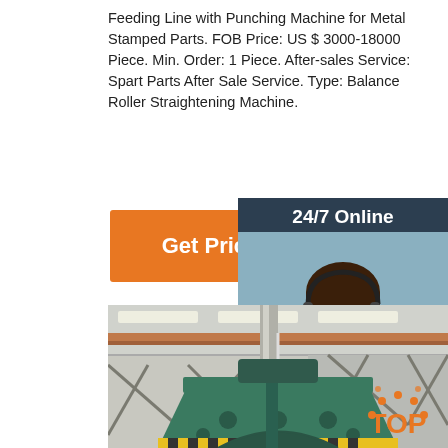Feeding Line with Punching Machine for Metal Stamped Parts. FOB Price: US $ 3000-18000 Piece. Min. Order: 1 Piece. After-sales Service: Spart Parts After Sale Service. Type: Balance Roller Straightening Machine.
Get Price
24/7 Online
[Figure (photo): Customer service representative with headset smiling, inside dark blue chat widget panel]
Click here for free chat !
QUOTATION
[Figure (photo): Industrial feeding line with punching machine for metal stamped parts inside a factory, showing green steel frame structure with overhead crane tracks and yellow safety markings]
[Figure (logo): TOP badge logo with orange dots in semicircle above the word TOP in orange on dark background]